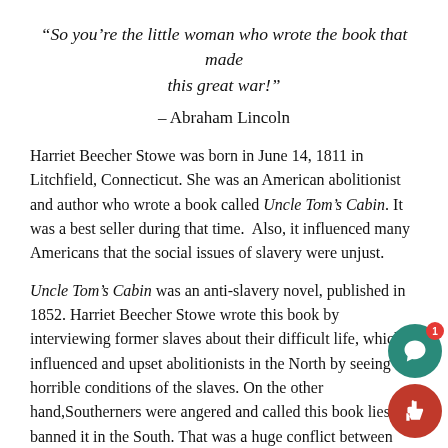“So you’re the little woman who wrote the book that made this great war!”
– Abraham Lincoln
Harriet Beecher Stowe was born in June 14, 1811 in Litchfield, Connecticut. She was an American abolitionist and author who wrote a book called Uncle Tom’s Cabin. It was a best seller during that time.  Also, it influenced many Americans that the social issues of slavery were unjust.
Uncle Tom’s Cabin was an anti-slavery novel, published in 1852. Harriet Beecher Stowe wrote this book by interviewing former slaves about their difficult life, which influenced and upset abolitionists in the North by seeing the horrible conditions of the slaves. On the other hand,Southerners were angered and called this book lies and banned it in the South. That was a huge conflict between North and the South,which increased the abolition